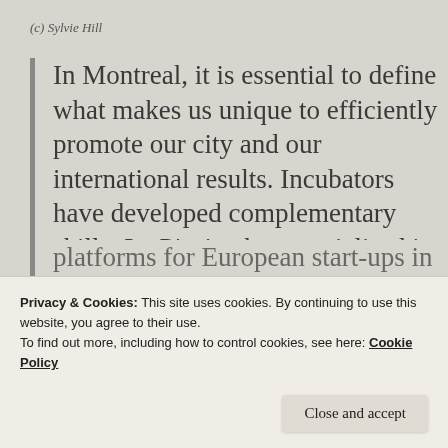(c) Sylvie Hill
In Montreal, it is essential to define what makes us unique to efficiently promote our city and our international results. Incubators have developed complementary skills: La Piscine has specialised in culture while L’Esplanade is focused on social impact. This diversity is what makes our ecosystem stronger. These different
Privacy & Cookies: This site uses cookies. By continuing to use this website, you agree to their use.
To find out more, including how to control cookies, see here: Cookie Policy
Close and accept